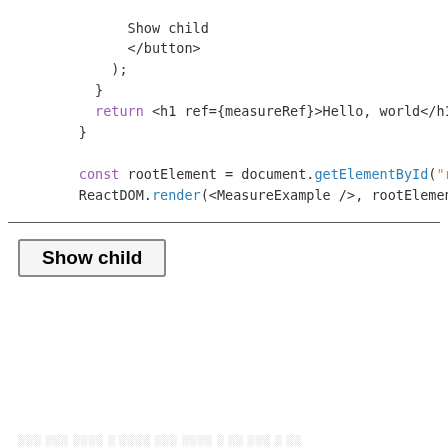Show child
            </button>
          );
        }
        return <h1 ref={measureRef}>Hello, world</h1>;
      }

      const rootElement = document.getElementById("root");
      ReactDOM.render(<MeasureExample />, rootElement);
[Figure (screenshot): A rendered browser UI showing a button labeled 'Show child']
░░░ ░░░ ░░░░ ░ ░░░░ ░░░ ░░░░ ░ ░░ ░░░ ░ ░░